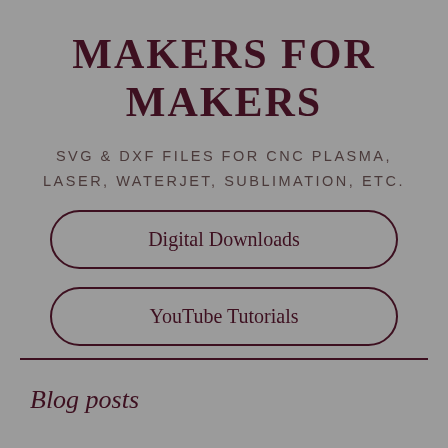MAKERS FOR MAKERS
SVG & DXF FILES FOR CNC PLASMA, LASER, WATERJET, SUBLIMATION, ETC.
Digital Downloads
YouTube Tutorials
Blog posts